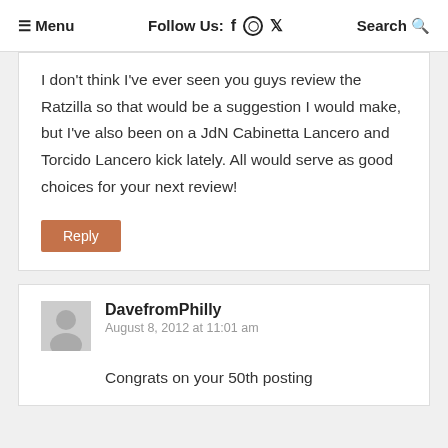≡ Menu   Follow Us: f ⊙ 𝓨   Search 🔍
I don't think I've ever seen you guys review the Ratzilla so that would be a suggestion I would make, but I've also been on a JdN Cabinetta Lancero and Torcido Lancero kick lately. All would serve as good choices for your next review!
Reply
DavefromPhilly
August 8, 2012 at 11:01 am
Congrats on your 50th posting